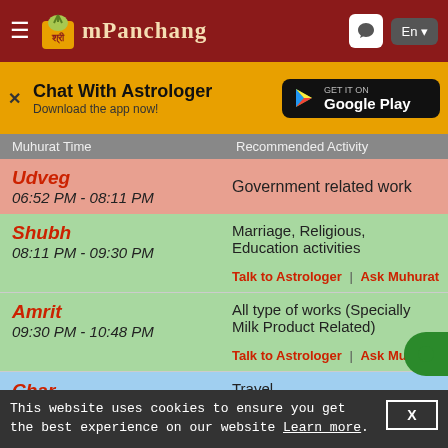mPanchang
Chat With Astrologer - Download the app now! GET IT ON Google Play
| Muhurat Time | Recommended Activity |
| --- | --- |
| Udveg 06:52 PM - 08:11 PM | Government related work |
| Shubh 08:11 PM - 09:30 PM | Marriage, Religious, Education activities | Talk to Astrologer | Ask Muhurat |
| Amrit 09:30 PM - 10:48 PM | All type of works (Specially Milk Product Related) | Talk to Astrologer | Ask Muhurat |
| Char 10:48 PM - 12:07 AM | Travel, Beauty/Dance/Cultur... |
This website uses cookies to ensure you get the best experience on our website Learn more.